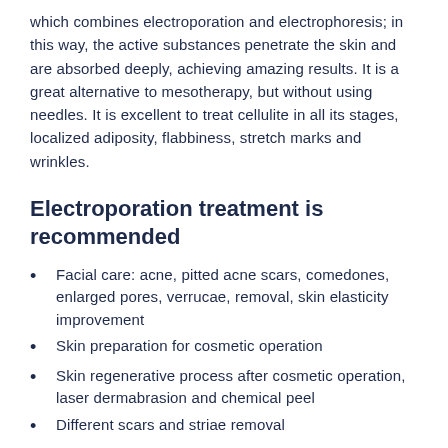which combines electroporation and electrophoresis; in this way, the active substances penetrate the skin and are absorbed deeply, achieving amazing results. It is a great alternative to mesotherapy, but without using needles. It is excellent to treat cellulite in all its stages, localized adiposity, flabbiness, stretch marks and wrinkles.
Electroporation treatment is recommended
Facial care: acne, pitted acne scars, comedones, enlarged pores, verrucae, removal, skin elasticity improvement
Skin preparation for cosmetic operation
Skin regenerative process after cosmetic operation, laser dermabrasion and chemical peel
Different scars and striae removal
Rosacea treatment
Wrinkle removal
Facilitates weight loss and cellulite treatment